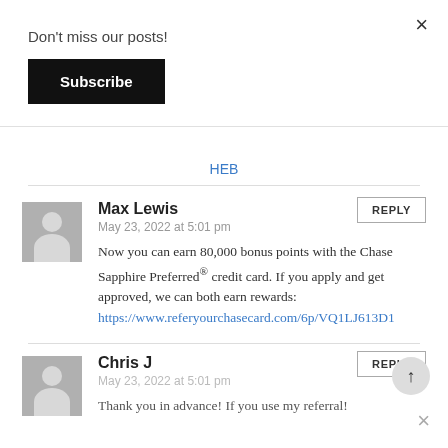Don't miss our posts!
Subscribe
×
HEB
Max Lewis
May 23, 2022 at 5:01 pm
Now you can earn 80,000 bonus points with the Chase Sapphire Preferred® credit card. If you apply and get approved, we can both earn rewards: https://www.referyourchasecard.com/6p/VQ1LJ613D1
REPLY
Chris J
REPLY
Thank you in advance! If you use my referral!
×